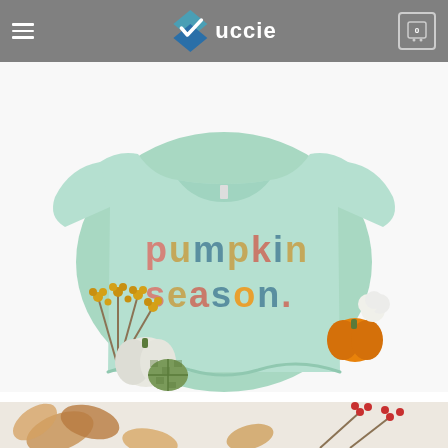Vuccie - navigation header with hamburger menu and cart icon showing 0
[Figure (photo): Mint green t-shirt with 'pumpkin season.' text in colorful retro letters, displayed flat on white background surrounded by autumn decorations including white pumpkins, orange/yellow berries, a small orange pumpkin, and a checkered pumpkin]
[Figure (photo): Bottom partial view of another product photo with autumn leaves and fall decorations on a light background]